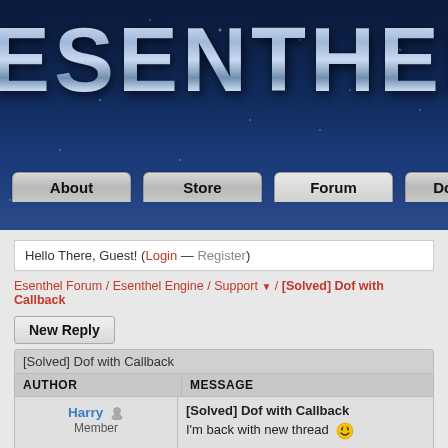[Figure (screenshot): Esenthel website header with starfield background and metallic logo text 'ESENTHEL', with navigation buttons: About, Store, Forum, Docu]
Hello There, Guest! (Login — Register)
Esenthel Forum / Esenthel Engine / Support ▼ / [Solved] Dof with Callback
New Reply
| AUTHOR | MESSAGE |
| --- | --- |
| Harry Member [avatar FV] | [Solved] Dof with Callback
I'm back with new thread 😁

I try to put in my project dof effect using Phys code is look like this:

Code: |